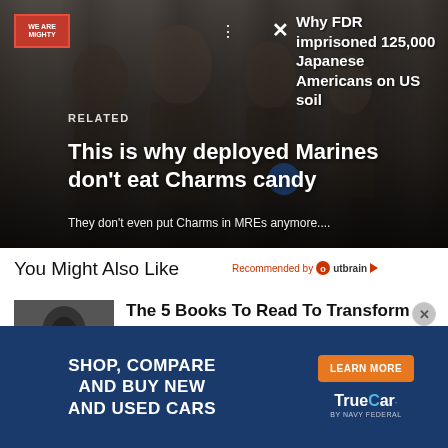[Figure (photo): Black and white historical photograph of Japanese American children, overlaid with article card UI elements including a logo, RELATED label, article title about Marines and Charms candy, subtitle text, and a sidebar headline about FDR imprisoning Japanese Americans.]
Why FDR imprisoned 125,000 Japanese Americans on US soil
RELATED
This is why deployed Marines don't eat Charms candy
They don't even put Charms in MREs anymore....
You Might Also Like
Recommended by Outbrain
[Figure (photo): Black and white portrait photo of a person with glasses and long dark hair, used as article thumbnail.]
The 5 Books To Read To Transform Your Life in 2022
[Figure (infographic): Advertisement banner for TrueCar by Navy Federal with dark blue background. Left side text: SHOP, COMPARE AND BUY NEW AND USED CARS. Right side has orange LEARN MORE button and TrueCar by Navy Federal logo.]